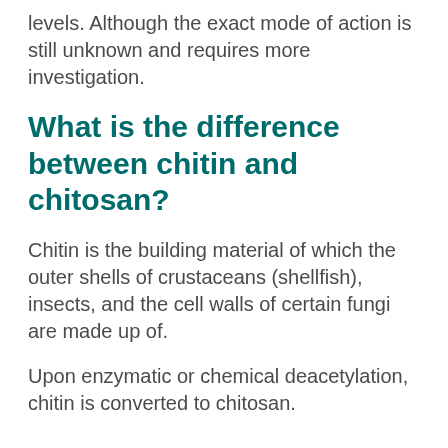levels. Although the exact mode of action is still unknown and requires more investigation.
What is the difference between chitin and chitosan?
Chitin is the building material of which the outer shells of crustaceans (shellfish), insects, and the cell walls of certain fungi are made up of.
Upon enzymatic or chemical deacetylation, chitin is converted to chitosan.